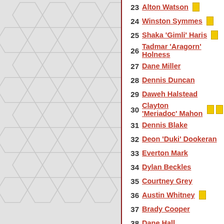[Figure (illustration): Left panel with hexagonal pattern background in light grey]
23 Alton Watson [yellow card]
24 Winston Symmes [yellow card]
25 Shaka 'Gimli' Haris [yellow card]
26 Tadmar 'Aragorn' Holness
27 Dane Miller
28 Dennis Duncan
29 Daweh Halstead
30 Clayton 'Meriadoc' Mahon [two yellow cards]
31 Dennis Blake
32 Deon 'Duki' Dookeran
33 Everton Mark
34 Dylan Beckles
35 Courtney Grey
36 Austin Whitney [yellow card]
37 Brady Cooper
38 Dane Hall
39 Austin Honeygan
40 David Weekes
41 Jo Stevens
42 Erroll 'Legolas' Griffith
43 Tom Walker
44 Carl Payne